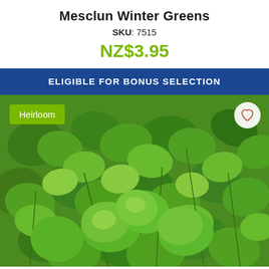Mesclun Winter Greens
SKU: 7515
NZ$3.95
ELIGIBLE FOR BONUS SELECTION
[Figure (photo): Close-up photo of dense green leafy winter greens / mesclun plants with small rounded leaves, with a green 'Heirloom' badge overlay in the top-left and a heart icon button in the top-right.]